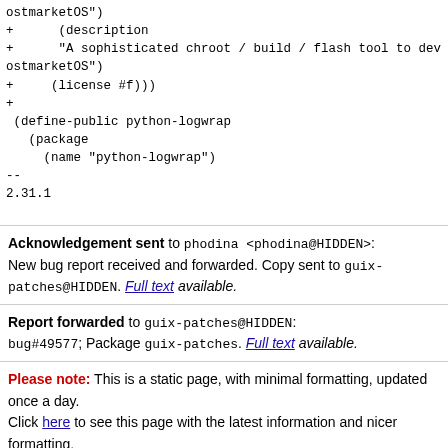ostmarketOS")
+      (description
+      "A sophisticated chroot / build / flash tool to dev ostmarketOS")
+     (license #f)))
+
 (define-public python-logwrap
   (package
     (name "python-logwrap")
--
2.31.1
Acknowledgement sent to phodina <phodina@HIDDEN>: New bug report received and forwarded. Copy sent to guix-patches@HIDDEN. Full text available.
Report forwarded to guix-patches@HIDDEN: bug#49577; Package guix-patches. Full text available.
Please note: This is a static page, with minimal formatting, updated once a day. Click here to see this page with the latest information and nicer formatting.